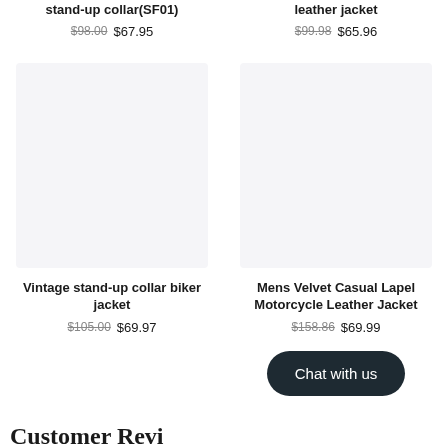stand-up collar(SF01)
$98.00 $67.95
leather jacket
$99.98 $65.96
[Figure (photo): Product image placeholder for Vintage stand-up collar biker jacket]
[Figure (photo): Product image placeholder for Mens Velvet Casual Lapel Motorcycle Leather Jacket]
Vintage stand-up collar biker jacket
$105.00 $69.97
Mens Velvet Casual Lapel Motorcycle Leather Jacket
$158.86 $69.99
Chat with us
Customer Reviews